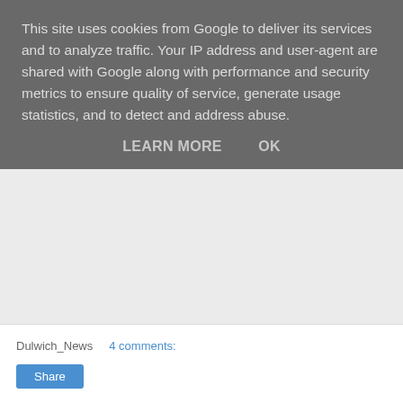This site uses cookies from Google to deliver its services and to analyze traffic. Your IP address and user-agent are shared with Google along with performance and security metrics to ensure quality of service, generate usage statistics, and to detect and address abuse.
LEARN MORE    OK
[Figure (photo): Street-level photo showing lower halves of two people walking on a brick pavement. One person in light grey trousers carrying a tan/orange leather handbag, wearing beige shoes. Another person in black stockings/tights and a dark skirt holding a bright pink item, wearing black shoes/sneakers.]
Dulwich_News    4 comments:
Share